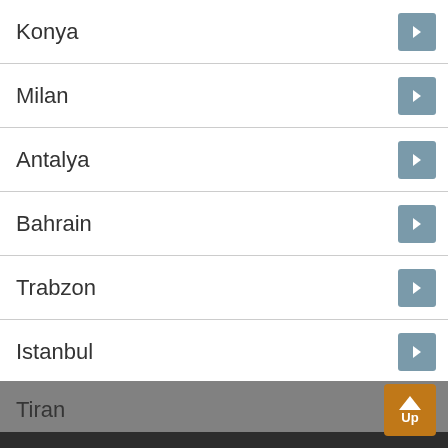Konya
Milan
Antalya
Bahrain
Trabzon
Istanbul
Tiran
We are using cookies to personalize and enhance your use of the Pegasus Website. By continuing to use our website without changing your cookie settings, you are agreeing to the use of cookies as set in the Pegasus Privacy Policy.
Change Settings
I Agree